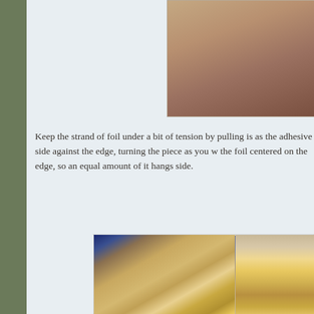[Figure (photo): Close-up photo of hands working with foil on a yellow piece, partially visible at top of page]
Keep the strand of foil under a bit of tension by pulling is as the adhesive side against the edge, turning the piece as you w the foil centered on the edge, so an equal amount of it hangs side.
[Figure (photo): Left photo: hands holding and applying copper foil tape to the edge of a yellow glass piece. Right photo: hands pressing foil onto a yellow piece.]